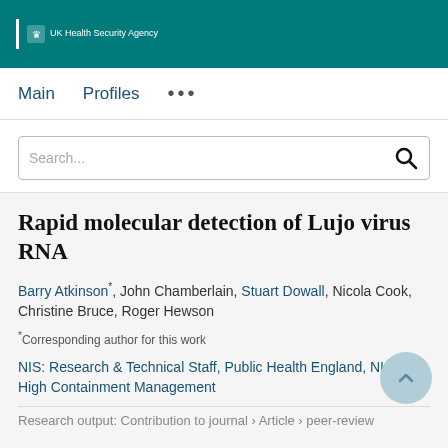UK Health Security Agency
Main   Profiles   ...
Search...
Rapid molecular detection of Lujo virus RNA
Barry Atkinson*, John Chamberlain, Stuart Dowall, Nicola Cook, Christine Bruce, Roger Hewson
*Corresponding author for this work
NIS: Research & Technical Staff, Public Health England, NIS: CL4 High Containment Management
Research output: Contribution to journal › Article › peer-review